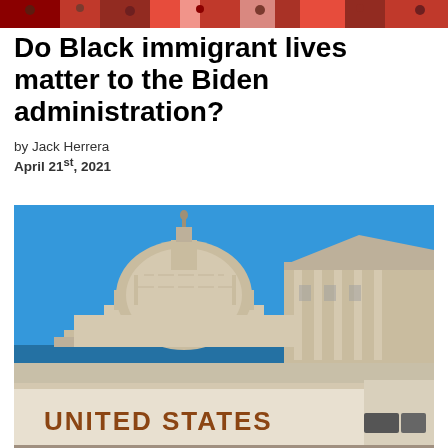[Figure (photo): Colorful banner or crowd scene image strip at the very top of the page]
Do Black immigrant lives matter to the Biden administration?
by Jack Herrera
April 21st, 2021
[Figure (photo): Photo of the United States Capitol building dome against a blue sky, with a vehicle in the foreground showing the text 'UNITED STATES']